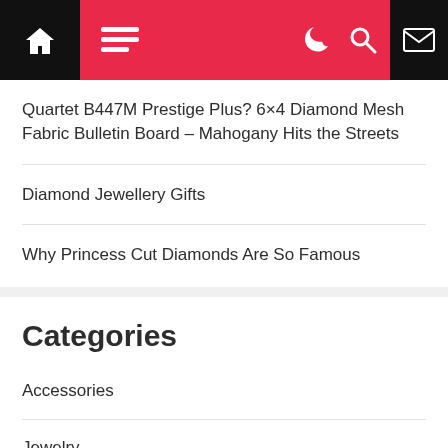Navigation bar with home, menu, dark mode, search, and mail icons
Quartet B447M Prestige Plus? 6×4 Diamond Mesh Fabric Bulletin Board – Mahogany Hits the Streets
Diamond Jewellery Gifts
Why Princess Cut Diamonds Are So Famous
Categories
Accessories
Jewelry
Ore
Ring